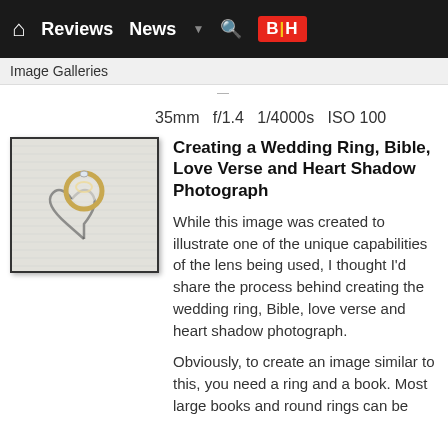Reviews  News  B|H
Image Galleries
35mm  f/1.4  1/4000s  ISO 100
[Figure (photo): Thumbnail photo of a wedding ring on open Bible pages forming a heart shadow]
Creating a Wedding Ring, Bible, Love Verse and Heart Shadow Photograph
While this image was created to illustrate one of the unique capabilities of the lens being used, I thought I'd share the process behind creating the wedding ring, Bible, love verse and heart shadow photograph.
Obviously, to create an image similar to this, you need a ring and a book. Most large books and round rings can be